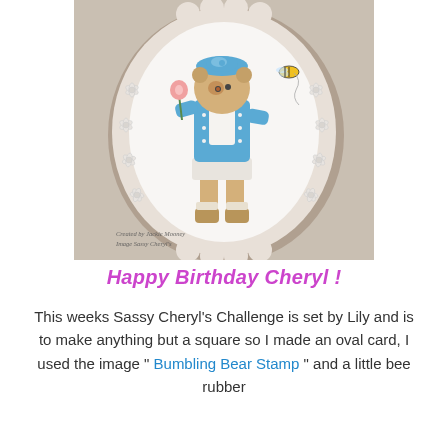[Figure (photo): A handmade oval card with a scalloped border and white floral decorations. The card features a colored stamped image of a bear character dressed in blue, holding a flower, with a bee flying nearby. The watermark reads 'Created by Jackie Mooney / Image Sassy Cheryl's'.]
Happy Birthday Cheryl !
This weeks Sassy Cheryl's Challenge is set by Lily and is to make anything but a square so I made an oval card, I used the image " Bumbling Bear Stamp " and a little bee rubber